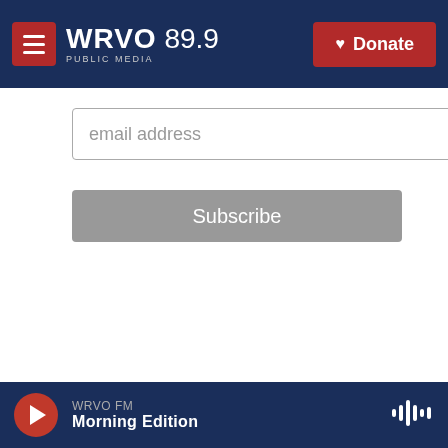WRVO PUBLIC MEDIA 89.9 | Donate
email address
Subscribe
Environment
Scientists work to bring back American chestnut tree
[Figure (photo): Person on a ladder working among green leafy trees]
WRVO FM — Morning Edition